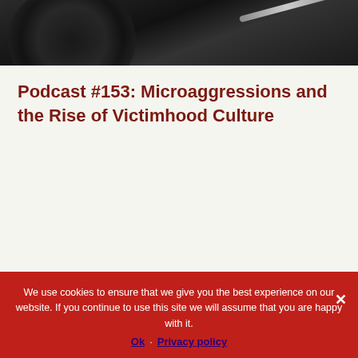[Figure (photo): Black and white photo of a vinyl turntable/record player, partially cropped at top]
Podcast #153: Microaggressions and the Rise of Victimhood Culture
[Figure (photo): Photo with green border showing objects on grassy ground: red helmet, cylindrical tubes, wicker basket]
We use cookies to ensure that we give you the best experience on our website. If you continue to use this site we will assume that you are happy with it.
Ok   Privacy policy